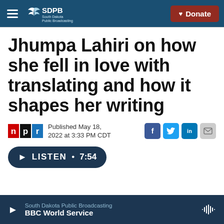SDPB South Dakota Public Broadcasting | Donate
Jhumpa Lahiri on how she fell in love with translating and how it shapes her writing
Published May 18, 2022 at 3:33 PM CDT
LISTEN • 7:54
South Dakota Public Broadcasting | BBC World Service